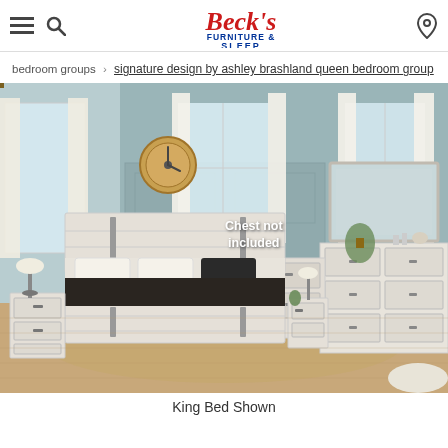Beck's Furniture & Sleep — navigation header with hamburger menu, search icon, logo, and location icon
bedroom groups › signature design by ashley brashland queen bedroom group
[Figure (photo): Staged bedroom scene showing a whitewashed wood queen/king bedroom group including bed with barn-door style headboard and footboard, two nightstands, a dresser with mirror, and a chest (labeled 'Chest not included'). Room has light blue walls, decorative clock, white curtains, and warm wood floors.]
King Bed Shown